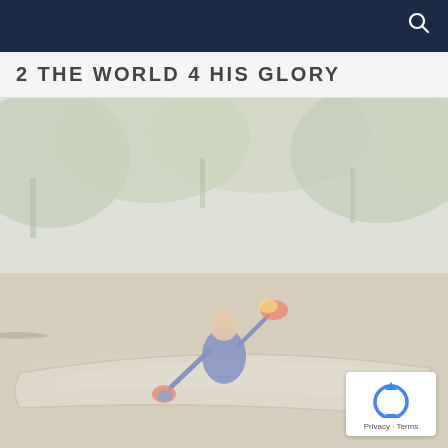2 THE WORLD 4 HIS GLORY
[Figure (photo): Person sitting in a canoe on a river, holding a paddle, with green trees and foliage in the background. The image has a washed-out, overexposed look.]
Privacy · Terms